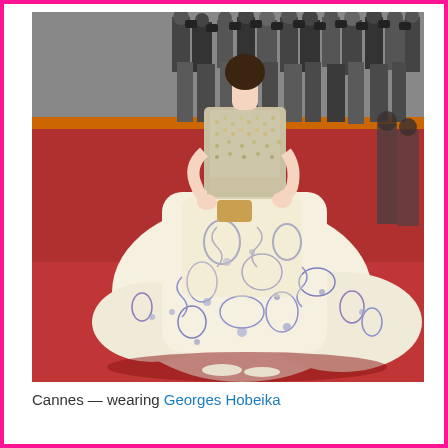[Figure (photo): A woman wearing an elaborate Georges Hobeika couture gown on a red carpet at Cannes. The dress features an ornate embroidered and brocade skirt in cream and blue with intricate floral and baroque patterns, and a beaded/sequined strapless bodice. The gown has a long train spread on the red carpet. In the background are photographers and press members.]
Cannes — wearing Georges Hobeika